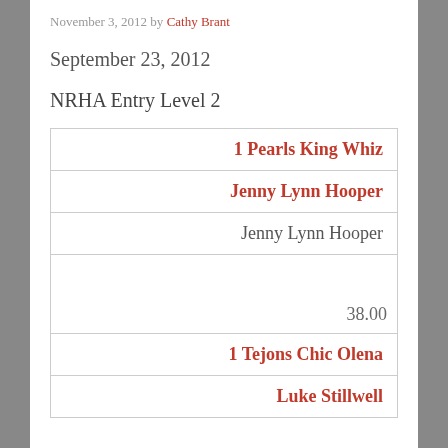November 3, 2012 by Cathy Brant
September 23, 2012
NRHA Entry Level 2
| 1 Pearls King Whiz |
| Jenny Lynn Hooper |
| Jenny Lynn Hooper |
| 38.00 |
| 1 Tejons Chic Olena |
| Luke Stillwell |